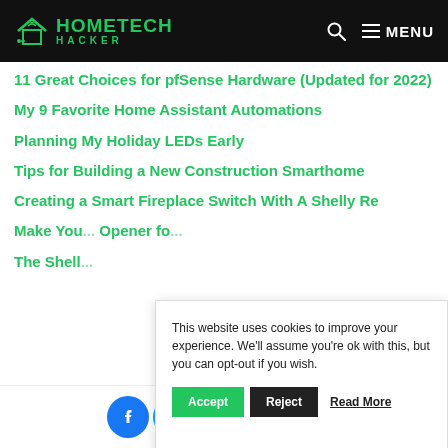HOMETECH HACKER
11 Great Choices for pfSense Hardware (Updated for 2022)
My 9 Favorite Home Assistant Automations
Planning My Holiday LEDs Early
Tips for Building a New Construction Smarthome
Creating a Smart Fireplace Switch With A Shelly Re...
Make You... Opener fo...
The Shell...
This website uses cookies to improve your experience. We'll assume you're ok with this, but you can opt-out if you wish.
Social share buttons: Facebook, Twitter, LinkedIn, Pinterest